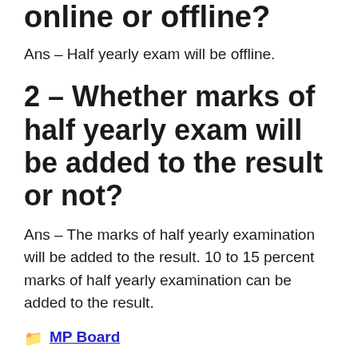online or offline?
Ans – Half yearly exam will be offline.
2 – Whether marks of half yearly exam will be added to the result or not?
Ans – The marks of half yearly examination will be added to the result. 10 to 15 percent marks of half yearly examination can be added to the result.
MP Board | Class 12 Hindi Half Yearly Paper, Class 12 Paper, Half Yearly Paper, Hindi Half Yearly